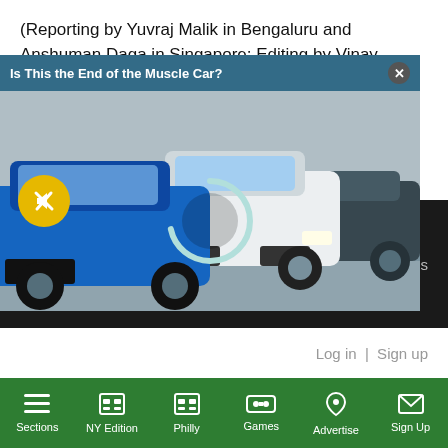(Reporting by Yuvraj Malik in Bengaluru and Anshuman Daga in Singapore; Editing by Vinay Dwivedi)
[Figure (other): Social share buttons: Facebook (blue), Twitter (light blue), and a red plus/share button]
COMMENTS
[Figure (screenshot): Ad overlay showing 'Is This the End of the Muscle Car?' with muscle cars photo, mute button, and close button]
ions are
our guidelines
Log in | Sign up
Sections | NY Edition | Philly | Games | Advertise | Sign Up